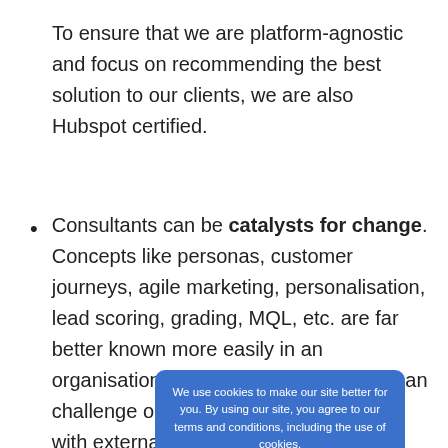To ensure that we are platform-agnostic and focus on recommending the best solution to our clients, we are also Hubspot certified.
Consultants can be catalysts for change. Concepts like personas, customer journeys, agile marketing, personalisation, lead scoring, grading, MQL, etc. are far better known more easily in an organisation through a consultant who can challenge outdated company processes with external research facts and data.
We use cookies to make our site better for you. By using our site, you agree to our terms and conditions, including the use of cookies. more information Accept